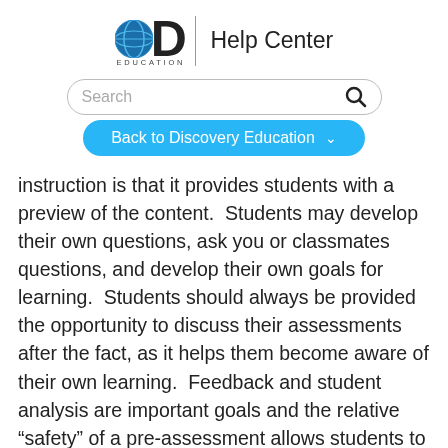[Figure (logo): Discovery Education logo with globe and D letter, with 'EDUCATION' label below]
Help Center
[Figure (screenshot): Search bar with placeholder text 'Search' and magnifying glass icon]
[Figure (screenshot): Blue pill button labeled 'Back to Discovery Education' with dropdown chevron]
instruction is that it provides students with a preview of the content.  Students may develop their own questions, ask you or classmates questions, and develop their own goals for learning.  Students should always be provided the opportunity to discuss their assessments after the fact, as it helps them become aware of their own learning.  Feedback and student analysis are important goals and the relative “safety” of a pre-assessment allows students to hone these skills without any concern over grades.